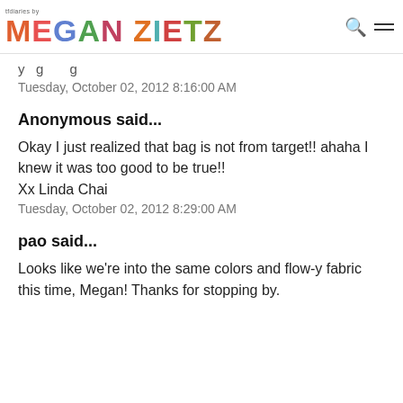tfdiaries by MEGAN ZIETZ
Tuesday, October 02, 2012 8:16:00 AM
Anonymous said...
Okay I just realized that bag is not from target!! ahaha I knew it was too good to be true!!
Xx Linda Chai
Tuesday, October 02, 2012 8:29:00 AM
pao said...
Looks like we're into the same colors and flow-y fabric this time, Megan! Thanks for stopping by.